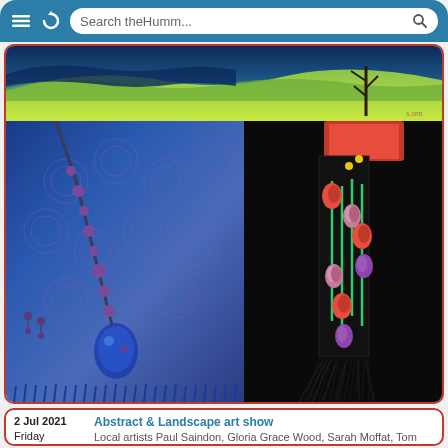[Figure (screenshot): Mobile browser bar with hamburger menu, refresh icon, and search field showing 'Search theHumm...']
[Figure (photo): Art show promotional images: top landscape painting with blue sky and green hills; bottom-left blue woven textile scarf with beaded jewelry necklace and earrings; bottom-right black scarf with colorful tulip embroidery and fringe]
2 Jul 2021
Friday
Abstract & Landscape art show
Local artists Paul Saindon, Gloria Grace Wood, Sarah Moffat, Tom Campbell, Natalie Pivot